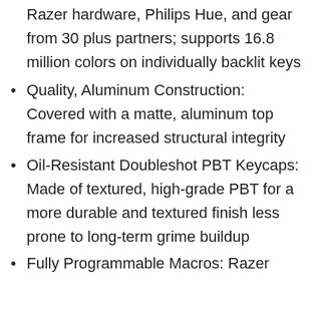Razer hardware, Philips Hue, and gear from 30 plus partners; supports 16.8 million colors on individually backlit keys
Quality, Aluminum Construction: Covered with a matte, aluminum top frame for increased structural integrity
Oil-Resistant Doubleshot PBT Keycaps: Made of textured, high-grade PBT for a more durable and textured finish less prone to long-term grime buildup
Fully Programmable Macros: Razer